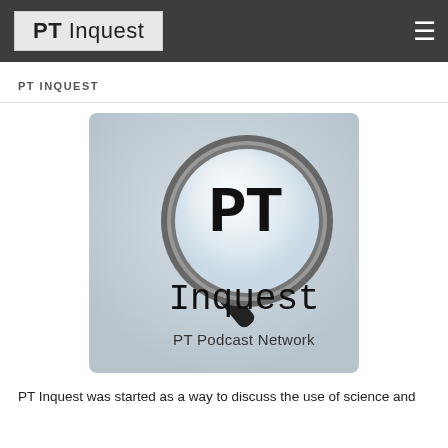PT Inquest
PT INQUEST
[Figure (logo): PT Inquest podcast logo: a magnifying glass with 'PT' visible inside the lens, 'Inquest' in large serif typewriter font below the lens, and 'PT Podcast Network' at the bottom. Light gray background.]
PT Inquest was started as a way to discuss the use of science and